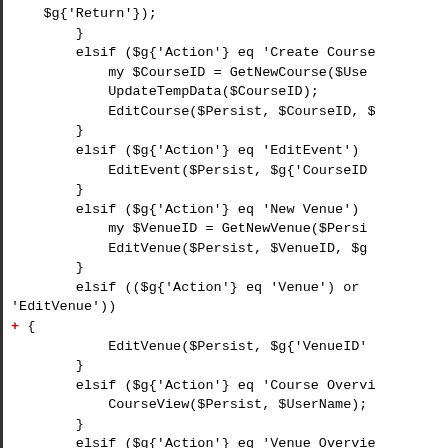Code snippet showing Perl conditional logic with elsif branches for Course and Venue actions